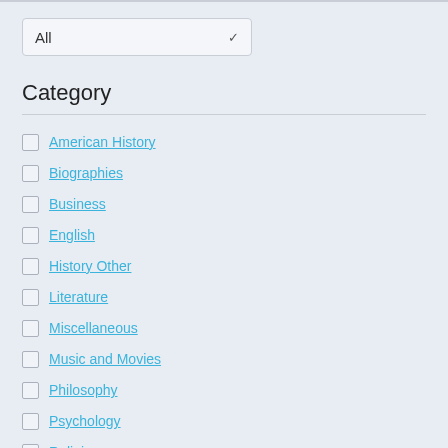[Figure (screenshot): Dropdown selector showing 'All' with a chevron arrow, styled as a form input on a light blue-grey background]
Category
American History
Biographies
Business
English
History Other
Literature
Miscellaneous
Music and Movies
Philosophy
Psychology
Religion
Science
Social Issues
Technology